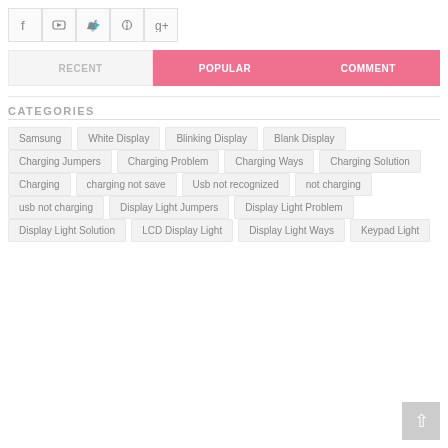[Figure (other): Social media icon buttons: Facebook, YouTube, Twitter, Pinterest, Google+]
RECENT | POPULAR | COMMENT
CATEGORIES
Samsung
White Display
Blinking Display
Blank Display
Charging Jumpers
Charging Problem
Charging Ways
Charging Solution
Charging
charging not save
Usb not recognized
not charging
usb not charging
Display Light Jumpers
Display Light Problem
Display Light Solution
LCD Display Light
Display Light Ways
Keypad Light